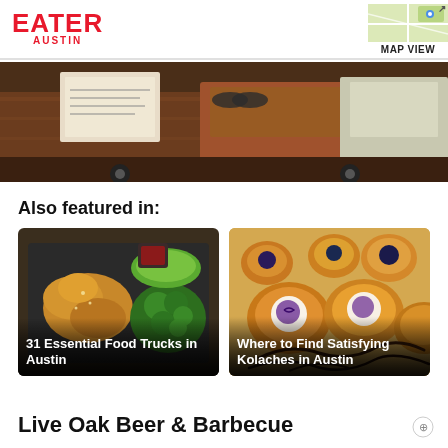EATER AUSTIN
[Figure (map): Small map thumbnail with MAP VIEW label in top-right header area]
[Figure (photo): Hero image of a food truck interior/exterior, dark reddish-brown tones, documents/menus visible]
Also featured in:
[Figure (photo): Food truck bento box with fried chicken, broccoli, and greens. Card overlay: 31 Essential Food Trucks in Austin]
31 Essential Food Trucks in Austin
[Figure (photo): Kolaches pastries on a surface. Card overlay: Where to Find Satisfying Kolaches in Austin]
Where to Find Satisfying Kolaches in Austin
Live Oak Beer & Barbecue